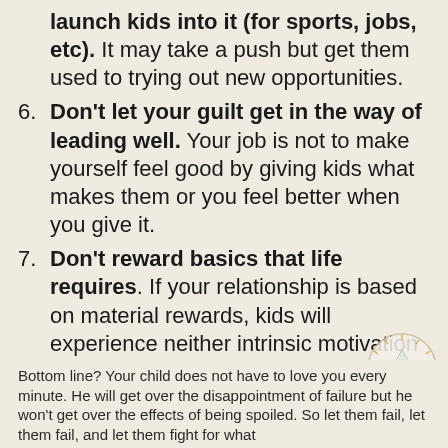...launch kids into it (for sports, jobs, etc). It may take a push but get them used to trying out new opportunities.
6. Don't let your guilt get in the way of leading well. Your job is not to make yourself feel good by giving kids what makes them or you feel better when you give it.
7. Don't reward basics that life requires. If your relationship is based on material rewards, kids will experience neither intrinsic motivation nor unconditional love.
8. Affirm smart risk-taking and hard work wisely. Help them see the advantage of both of these, and that stepping out a comfort zone usually pays off.
Bottom line? Your child does not have to love you every minute. He will get over the disappointment of failure but he won't get over the effects of being spoiled. So let them fail, let them fail, and let them fight for what